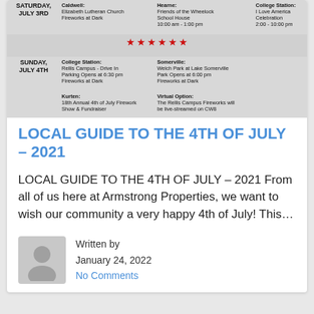[Figure (infographic): Fireworks events schedule for Saturday July 3rd and Sunday July 4th listing locations including Caldwell, Hearne, College Station, Somerville, Kurten with red star decorations on grey background]
LOCAL GUIDE TO THE 4TH OF JULY – 2021
LOCAL GUIDE TO THE 4TH OF JULY – 2021 From all of us here at Armstrong Properties, we want to wish our community a very happy 4th of July! This…
Written by
January 24, 2022
No Comments